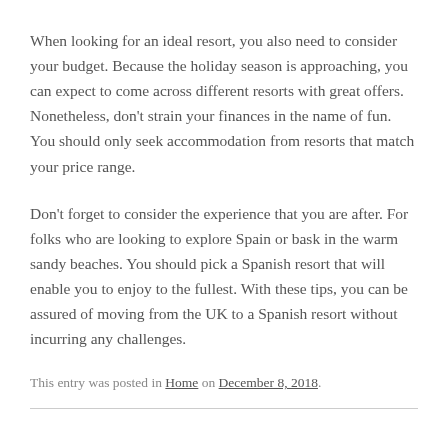When looking for an ideal resort, you also need to consider your budget. Because the holiday season is approaching, you can expect to come across different resorts with great offers. Nonetheless, don't strain your finances in the name of fun. You should only seek accommodation from resorts that match your price range.
Don't forget to consider the experience that you are after. For folks who are looking to explore Spain or bask in the warm sandy beaches. You should pick a Spanish resort that will enable you to enjoy to the fullest. With these tips, you can be assured of moving from the UK to a Spanish resort without incurring any challenges.
This entry was posted in Home on December 8, 2018.